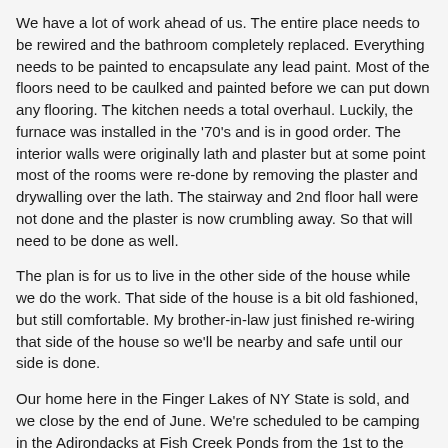We have a lot of work ahead of us. The entire place needs to be rewired and the bathroom completely replaced. Everything needs to be painted to encapsulate any lead paint. Most of the floors need to be caulked and painted before we can put down any flooring. The kitchen needs a total overhaul. Luckily, the furnace was installed in the '70's and is in good order. The interior walls were originally lath and plaster but at some point most of the rooms were re-done by removing the plaster and drywalling over the lath. The stairway and 2nd floor hall were not done and the plaster is now crumbling away. So that will need to be done as well.
The plan is for us to live in the other side of the house while we do the work. That side of the house is a bit old fashioned, but still comfortable. My brother-in-law just finished re-wiring that side of the house so we'll be nearby and safe until our side is done.
Our home here in the Finger Lakes of NY State is sold, and we close by the end of June. We're scheduled to be camping in the Adirondacks at Fish Creek Ponds from the 1st to the 22nd of June so we have planned everything around being completely moved out by the 25th of May. We may have to come back briefly before the closing for a day or two. From the campground, we'll be close enough to the new place that we can check on the place if needed as they get things done.